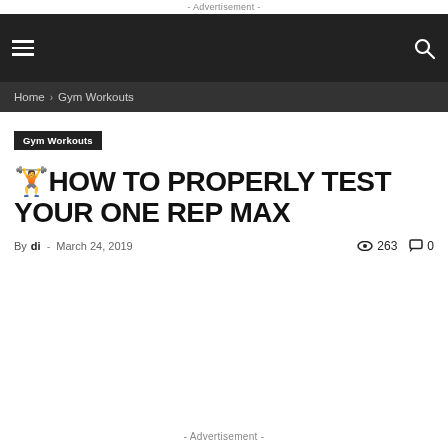- Advertisement -
Home › Gym Workouts
Gym Workouts
🏋HOW TO PROPERLY TEST YOUR ONE REP MAX
By di - March 24, 2019  263  0
- Advertisement -